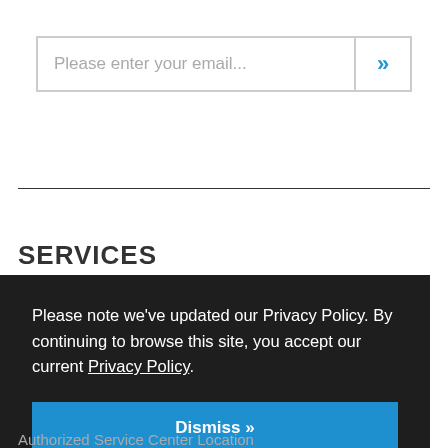Please enter your email...
SERVICES
Please note we’ve updated our Privacy Policy. By continuing to browse this site, you accept our current Privacy Policy.
Dismiss »
Authorized Service Center Location